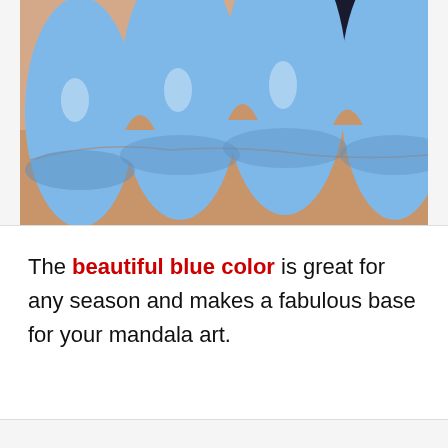[Figure (photo): Close-up photograph of a hand with four fingernails painted in a glossy cornflower blue nail polish, square-shaped nails with visible specular highlights.]
The beautiful blue color is great for any season and makes a fabulous base for your mandala art.